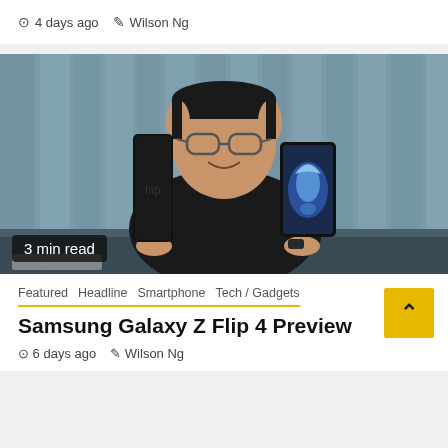4 days ago   Wilson Ng
[Figure (photo): Man holding two Samsung Galaxy Z Flip 4 phones, one closed/folded in left hand and one open showing screen in right hand, sitting at a table in front of grey curtains. Badge reads '3 min read'.]
3 min read
Featured   Headline   Smartphone   Tech / Gadgets
Samsung Galaxy Z Flip 4 Preview
6 days ago   Wilson Ng